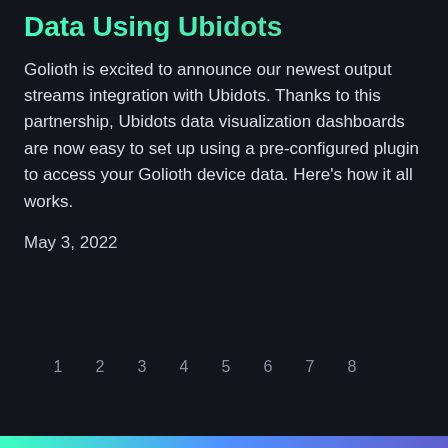Data Using Ubidots
Golioth is excited to announce our newest output streams integration with Ubidots. Thanks to this partnership, Ubidots data visualization dashboards are now easy to set up using a pre-configured plugin to access your Golioth device data. Here's how it all works.
May 3, 2022
1 2 3 4 5 6 7 8